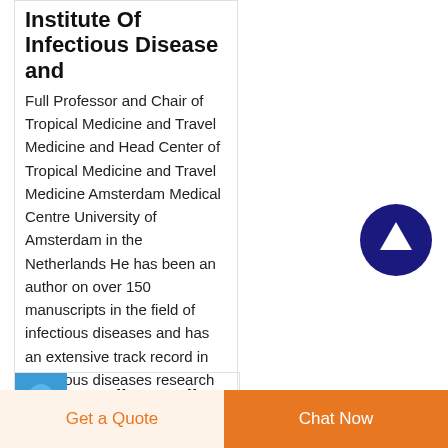Institute of Infectious Disease and
Full Professor and Chair of Tropical Medicine and Travel Medicine and Head Center of Tropical Medicine and Travel Medicine Amsterdam Medical Centre University of Amsterdam in the Netherlands He has been an author on over 150 manuscripts in the field of infectious diseases and has an extensive track record in infectious diseases research and
[Figure (other): Dark navy circle with white upward arrow scroll-to-top button]
n spike n spike
Get a Quote
Chat Now